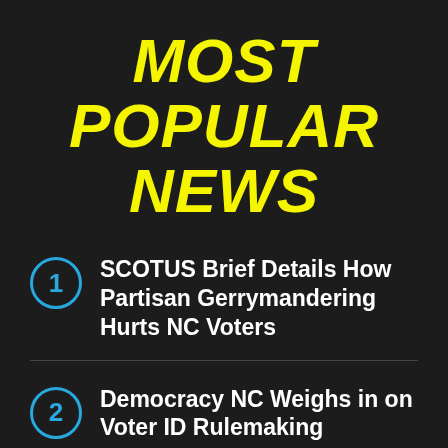MOST POPULAR NEWS
SCOTUS Brief Details How Partisan Gerrymandering Hurts NC Voters
Democracy NC Weighs in on Voter ID Rulemaking